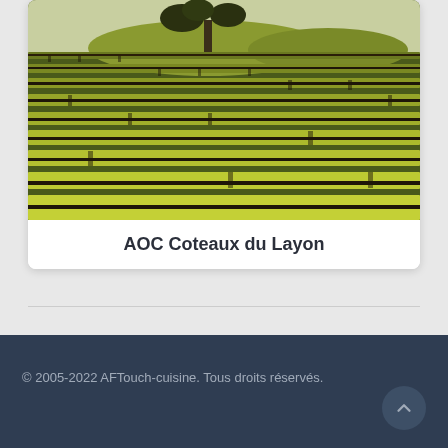[Figure (photo): Aerial/ground level photo of a vineyard with rows of grapevines in yellow-green color, a tree visible in the background against a pale sky.]
AOC Coteaux du Layon
© 2005-2022 AFTouch-cuisine. Tous droits réservés.